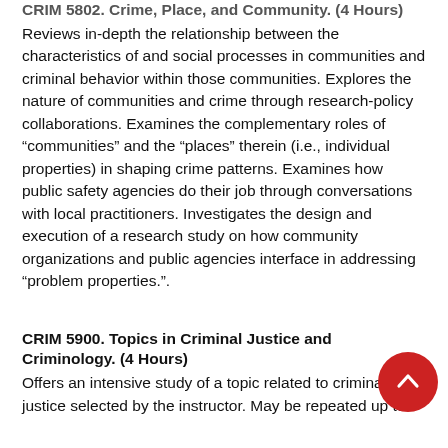CRIM 5802. Crime, Place, and Community. (4 Hours)
Reviews in-depth the relationship between the characteristics of and social processes in communities and criminal behavior within those communities. Explores the nature of communities and crime through research-policy collaborations. Examines the complementary roles of “communities” and the “places” therein (i.e., individual properties) in shaping crime patterns. Examines how public safety agencies do their job through conversations with local practitioners. Investigates the design and execution of a research study on how community organizations and public agencies interface in addressing “problem properties.”.
CRIM 5900. Topics in Criminal Justice and Criminology. (4 Hours)
Offers an intensive study of a topic related to criminal justice selected by the instructor. May be repeated up to